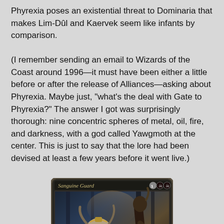Phyrexia poses an existential threat to Dominaria that makes Lim-Dûl and Kaervek seem like infants by comparison.
(I remember sending an email to Wizards of the Coast around 1996—it must have been either a little before or after the release of Alliances—asking about Phyrexia. Maybe just, "what's the deal with Gate to Phyrexia?" The answer I got was surprisingly thorough: nine concentric spheres of metal, oil, fire, and darkness, with a god called Yawgmoth at the center. This is just to say that the lore had been devised at least a few years before it went live.)
[Figure (illustration): Magic: The Gathering card 'Sanguine Guard' with mana cost 1BB, showing dark fantasy artwork of a creature with horns and a screaming appearance alongside another dark creature figure, on a black card frame.]